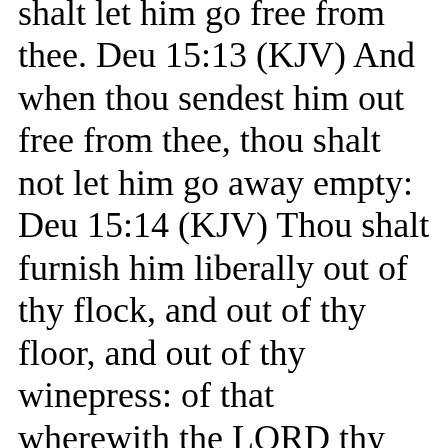shalt let him go free from thee. Deu 15:13 (KJV) And when thou sendest him out free from thee, thou shalt not let him go away empty: Deu 15:14 (KJV) Thou shalt furnish him liberally out of thy flock, and out of thy floor, and out of thy winepress: of that wherewith the LORD thy God hath blessed thee thou shalt give unto him. Deu 15:15 (KJV) And thou shalt